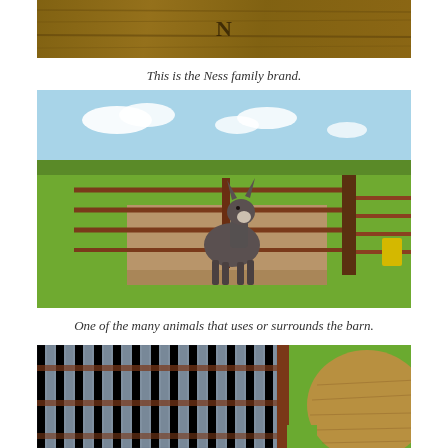[Figure (photo): Close-up photo of a wooden surface with a brand mark — the Ness family brand.]
This is the Ness family brand.
[Figure (photo): A donkey standing at a metal gate/fence in an outdoor farm setting with green grass and fields in the background under a blue sky with clouds.]
One of the many animals that uses or surrounds the barn.
[Figure (photo): Partial view of wooden/metal fence panels and a large round hay bale in a farm setting.]